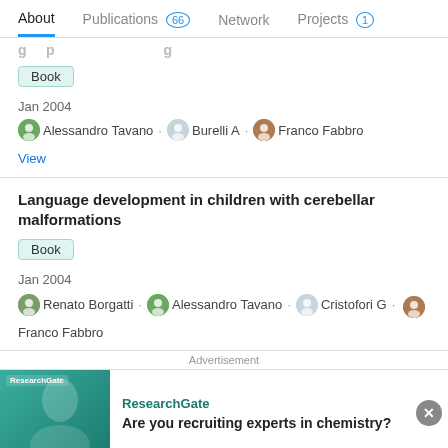About | Publications 66 | Network | Projects 1
Jan 2004
Alessandro Tavano · Burelli A · Franco Fabbro
View
Language development in children with cerebellar malformations
Book
Jan 2004
Renato Borgatti · Alessandro Tavano · Cristofori G · Franco Fabbro
Advertisement
ResearchGate
Are you recruiting experts in chemistry?